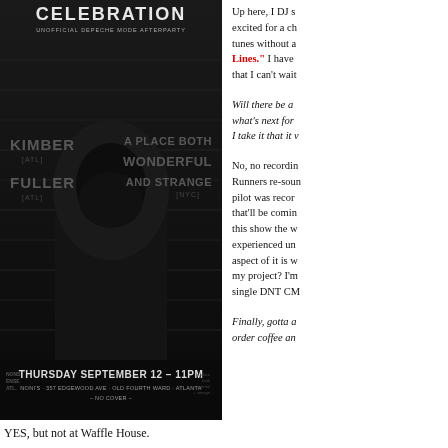[Figure (other): Event poster for 'Celebration - Unofficial Depeche Mode Afterparty' featuring a hooded figure in dark lighting. DJs listed: Kimber (ATL), Fuller (ATL), A Place Both Wonderful and Strange (NYC). Date: Thursday September 12 - 11PM. Venue: Noni's, 357 Edgewood Ave, Old Fourth Ward, Atlanta. No Cover.]
Up here, I DJ so excited for a ch tunes without a Lines." I have that I can't wait
Will there be a what's next for I take it that it v
No, no recordin Runners re-sour pilot was recor that'll be comin this show the w experienced un aspect of it is w my project? I'm single DNT CM
Finally, gotta a order coffee an
YES, but not at Waffle House.